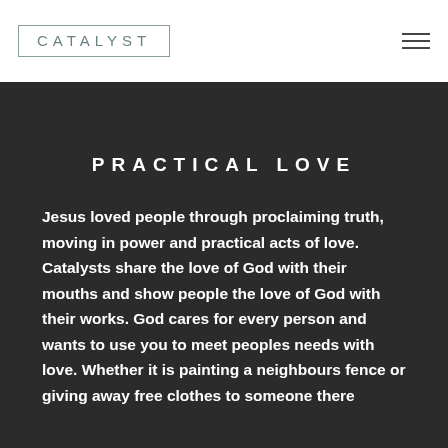[Figure (logo): CATALYST logo text inside a rectangular border box]
Navigation menu icon (hamburger)
PRACTICAL LOVE
Jesus loved people through proclaiming truth, moving in power and practical acts of love. Catalysts share the love of God with their mouths and show people the love of God with their works. God cares for every person and wants to use you to meet peoples needs with love. Whether it is painting a neighbours fence or giving away free clothes to someone there